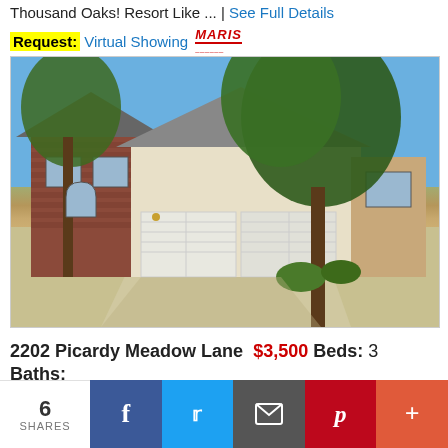Thousand Oaks! Resort Like ... | See Full Details
Request: Virtual Showing MARIS
[Figure (photo): Exterior photo of a residential home at 2202 Picardy Meadow Lane, showing a brick and siding house with a two-car garage, driveway, and large green trees in front on a sunny day.]
2202 Picardy Meadow Lane  $3,500  Beds: 3  Baths: 6
6 SHARES
f (Facebook share button)
Twitter share button
Email share button
Pinterest share button
+ (More share button)